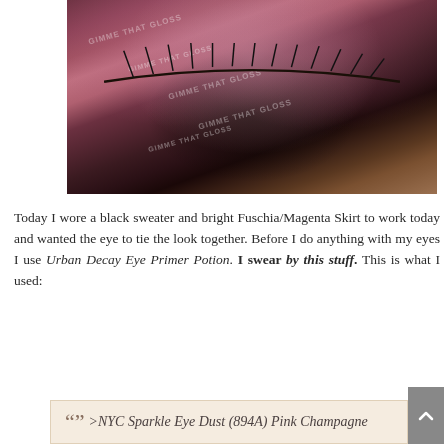[Figure (photo): Close-up photo of a closed eye with shimmery pink/magenta/rose eyeshadow and dark mascara on lashes. Skin is dark-toned. Watermark text 'GIMME THAT GLOSS' appears multiple times across the image.]
Today I wore a black sweater and bright Fuschia/Magenta Skirt to work today and wanted the eye to tie the look together. Before I do anything with my eyes I use Urban Decay Eye Primer Potion. I swear by this stuff. This is what I used:
“” >NYC Sparkle Eye Dust (894A) Pink Champagne